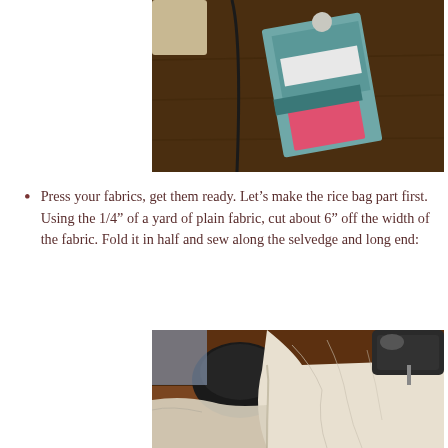[Figure (photo): Photo of a folded pink fabric packet labeled 'Fine Cotton' on a dark wooden surface]
Press your fabrics, get them ready.  Let’s make the rice bag part first.  Using the 1/4” of a yard of plain fabric, cut about 6” off the width of the fabric.  Fold it in half and sew along the selvedge and long end:
[Figure (photo): Photo of white muslin fabric being sewn on a vintage sewing machine on a wooden table]